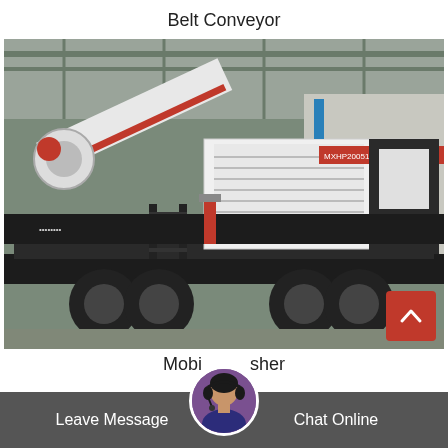Belt Conveyor
[Figure (photo): A large mobile crusher / industrial heavy machinery on a flatbed trailer, photographed inside a factory/warehouse. The machine is predominantly black and white with red accents, featuring a large conveyor arm, engine grille labeled MXHP20051536, and steel stairs, sitting on a dual-axle trailer on a concrete floor.]
Mobile Crusher
Leave Message
Chat Online